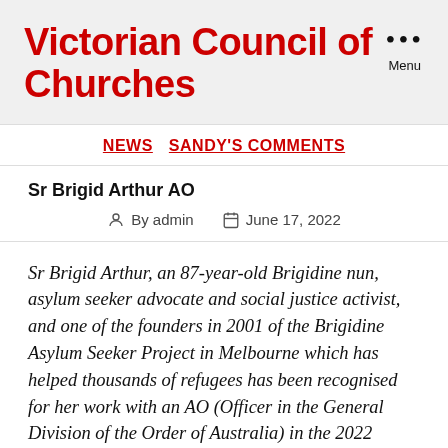Victorian Council of Churches
Menu
NEWS  SANDY'S COMMENTS
Sr Brigid Arthur AO
By admin  June 17, 2022
Sr Brigid Arthur, an 87-year-old Brigidine nun, asylum seeker advocate and social justice activist, and one of the founders in 2001 of the Brigidine Asylum Seeker Project in Melbourne which has helped thousands of refugees has been recognised for her work with an AO (Officer in the General Division of the Order of Australia) in the 2022 Queen's Birthday Honours for